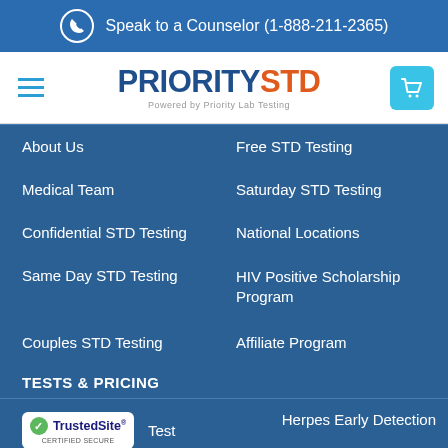Speak to a Counselor (1-888-211-2365)
[Figure (logo): PrioritySTD logo with 'Powered by Priority Lab Testing' tagline, hamburger menu icon on left, cart button on right]
About Us
Free STD Testing
Medical Team
Saturday STD Testing
Confidential STD Testing
National Locations
Same Day STD Testing
HIV Positive Scholarship Program
Couples STD Testing
Affiliate Program
TESTS & PRICING
[Figure (logo): TrustedSite Certified Secure badge]
Test
Herpes Early Detection